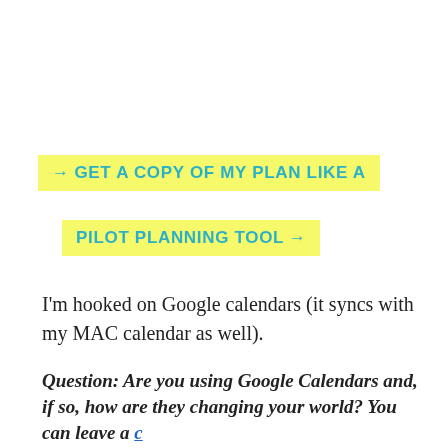→  GET A COPY OF MY PLAN LIKE A
PILOT PLANNING TOOL →
I'm hooked on Google calendars (it syncs with my MAC calendar as well).
Question: Are you using Google Calendars and, if so, how are they changing your world? You can leave a comment at the link below.